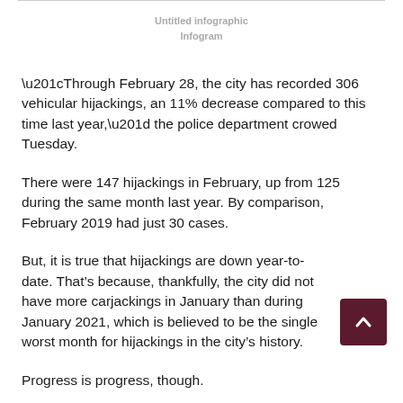Untitled infographic
Infogram
“Through February 28, the city has recorded 306 vehicular hijackings, an 11% decrease compared to this time last year,” the police department crowed Tuesday.
There were 147 hijackings in February, up from 125 during the same month last year. By comparison, February 2019 had just 30 cases.
But, it is true that hijackings are down year-to-date. That’s because, thankfully, the city did not have more carjackings in January than during January 2021, which is believed to be the single worst month for hijackings in the city’s history.
Progress is progress, though.
CPD fine-tuned another carjacking-related line in its latest